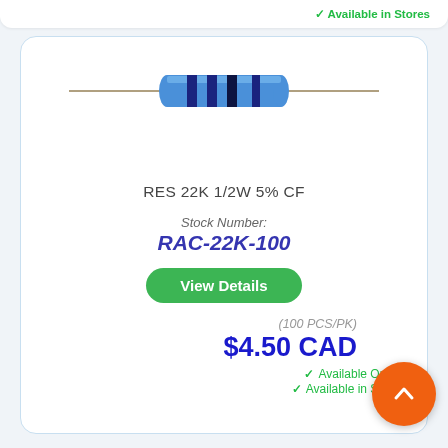✓ Available in Stores
[Figure (photo): Blue 22K ohm 1/2W carbon film resistor with color bands, shown horizontally with metal leads extending from both sides]
RES 22K 1/2W 5% CF
Stock Number:
RAC-22K-100
View Details
(100 PCS/PK)
$4.50 CAD
✓ Available Online
✓ Available in Stores